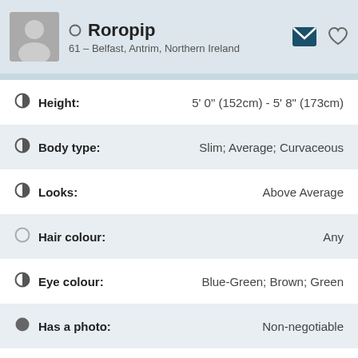Roropip
61 – Belfast, Antrim, Northern Ireland
Height: 5' 0" (152cm) - 5' 8" (173cm)
Body type: Slim; Average; Curvaceous
Looks: Above Average
Hair colour: Any
Eye colour: Blue-Green; Brown; Green
Has a photo: Non-negotiable
Relationship Status: Any